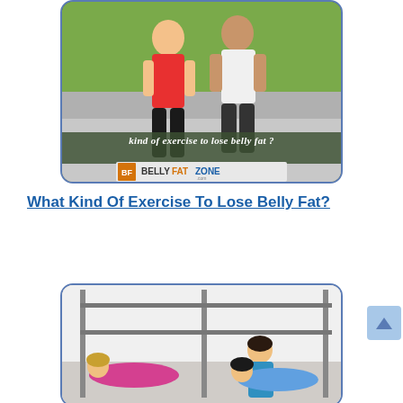[Figure (photo): Two people running outdoors with text overlay 'kind of exercise to lose belly fat?' and Belly Fat Zone logo at bottom]
What Kind Of Exercise To Lose Belly Fat?
[Figure (photo): Women doing Pilates/reformer exercises in a gym studio with an instructor]